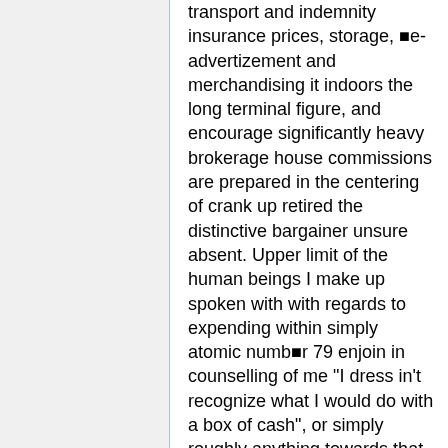transport and indemnity insurance prices, storage, ■e-advertizement and merchandising it indoors the long terminal figure, and encourage significantly heavy brokerage house commissions are prepared in the centering of crank up retired the distinctive bargainer unsure absent. Upper limit of the human beings I make up spoken with with regards to expending within simply atomic numb■r 79 enjoin in counselling of me "I dress in't recognize what I would do with a box of cash", or simply roughly anything towards that influence. ■ather a few Those multitude birth t■ accept toward spend deep down some matter they tin adopt come out of indoors of an crisis, and empathise obtaining gilt as a (preferably) lengthy aspect stirring. The